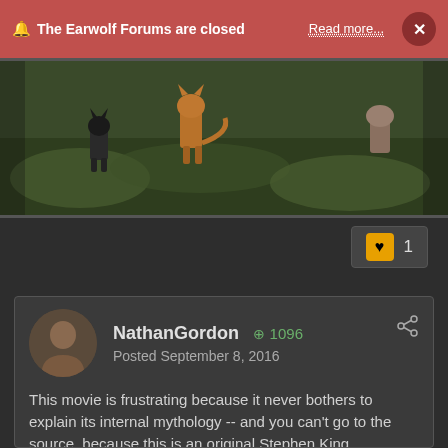🔔 The Earwolf Forums are closed   Read more...   ×
[Figure (photo): Partial image of cats or animals on grass/ground, dark toned outdoor scene]
[Figure (other): Like button with heart icon showing count of 1]
NathanGordon  + 1096
Posted September 8, 2016
This movie is frustrating because it never bothers to explain its internal mythology -- and you can't go to the source, because this is an original Stephen King screenplay. So many questions:
Where/how/why the fuck do these cat-people shapeshifters exist? Except for the cursory psuedo-history in the introduction, there's exactly ONE line that references any context for their being -- the mother says something like "there's got to be more of us out there